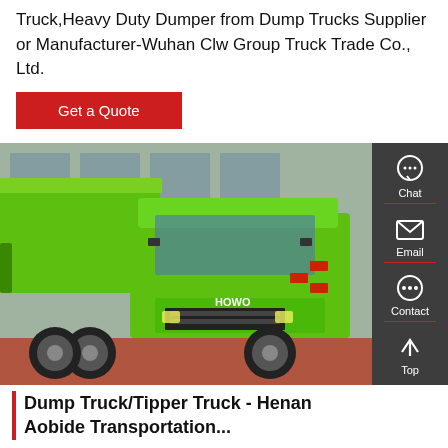Truck,Heavy Duty Dumper from Dump Trucks Supplier or Manufacturer-Wuhan Clw Group Truck Trade Co., Ltd.
Get a Quote
[Figure (photo): A bright green HOWO heavy duty dump/tipper truck parked in front of a building, photographed from the front-left angle. A grey sidebar with Chat, Email, Contact, and Top navigation icons is overlaid on the right side.]
Dump Truck/Tipper Truck - Henan Aobide Transportation...